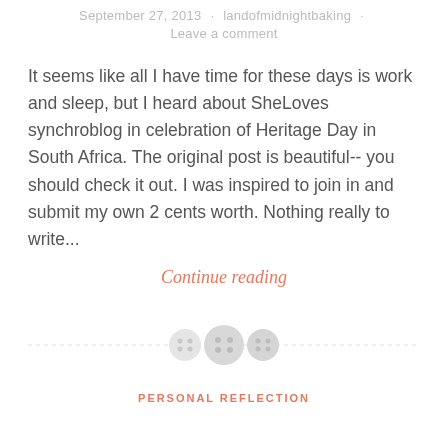September 27, 2013 · landofmidnightbaking · Leave a comment
It seems like all I have time for these days is work and sleep, but I heard about SheLoves synchroblog in celebration of Heritage Day in South Africa. The original post is beautiful-- you should check it out. I was inspired to join in and submit my own 2 cents worth. Nothing really to write...
Continue reading
[Figure (illustration): Three decorative button icons on a dashed horizontal divider line]
PERSONAL REFLECTION